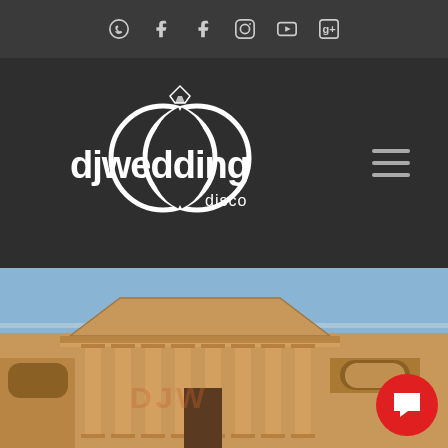Social media icons: WhatsApp, Facebook, Facebook, Instagram, YouTube, Google+
[Figure (logo): DJ Wedding Disco logo — white interlocking rings with diamond ring on top, text 'djwedding disco' in white on dark background]
[Figure (photo): Exterior photo of a grand neoclassical building with tall columns and pediment, warm golden stone, blue sky background — appears to be Blenheim Palace or similar stately home]